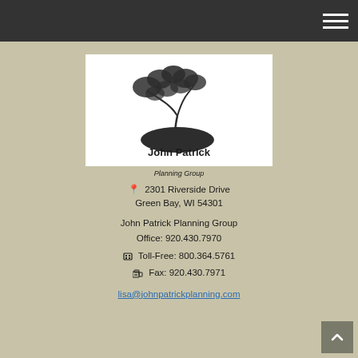[Figure (logo): John Patrick Planning Group logo — bonsai tree over dark mound with company name text below]
2301 Riverside Drive
Green Bay, WI 54301
John Patrick Planning Group
Office: 920.430.7970
Toll-Free: 800.364.5761
Fax: 920.430.7971
lisa@johnpatrickplanning.com